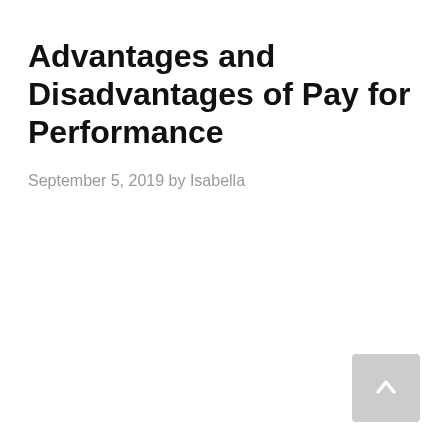Advantages and Disadvantages of Pay for Performance
September 5, 2019 by Isabella